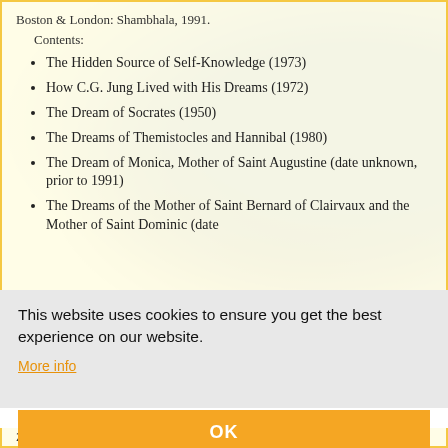Boston & London: Shambhala, 1991.
Contents:
The Hidden Source of Self-Knowledge (1973)
How C.G. Jung Lived with His Dreams (1972)
The Dream of Socrates (1950)
The Dreams of Themistocles and Hannibal (1980)
The Dream of Monica, Mother of Saint Augustine (date unknown, prior to 1991)
The Dreams of the Mother of Saint Bernard of Clairvaux and the Mother of Saint Dominic (date
This website uses cookies to ensure you get the best experience on our website.
More info
OK
Zürich & New York: Spring Pub., 1971.